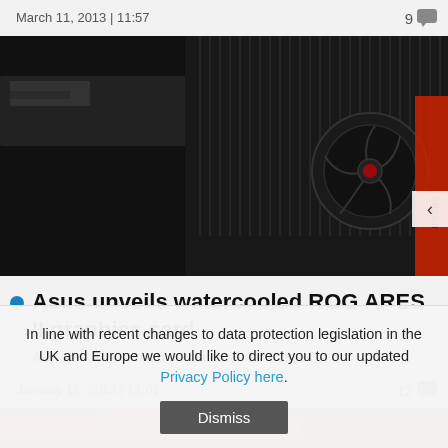March 11, 2013 | 11:57   9
[Figure (photo): Photo of Asus ROG ARES II watercooled graphics card showing fan and red accents on black PCB]
Asus unveils watercooled ROG ARES II graphics card
Asetek-cooled limited edition dual-GPU beast.
January 16, 2013 | 11:01   12
[Figure (photo): Partial image strip of another article]
In line with recent changes to data protection legislation in the UK and Europe we would like to direct you to our updated Privacy Policy here.
Dismiss